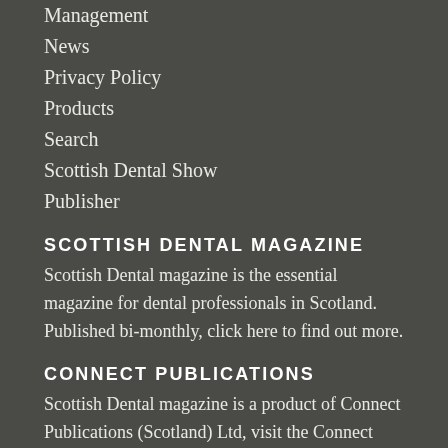Management
News
Privacy Policy
Products
Search
Scottish Dental Show
Publisher
SCOTTISH DENTAL MAGAZINE
Scottish Dental magazine is the essential magazine for dental professionals in Scotland. Published bi-monthly, click here to find out more.
CONNECT PUBLICATIONS
Scottish Dental magazine is a product of Connect Publications (Scotland) Ltd, visit the Connect website for more information on our publisher.
FOLLOW US ON TWITTER